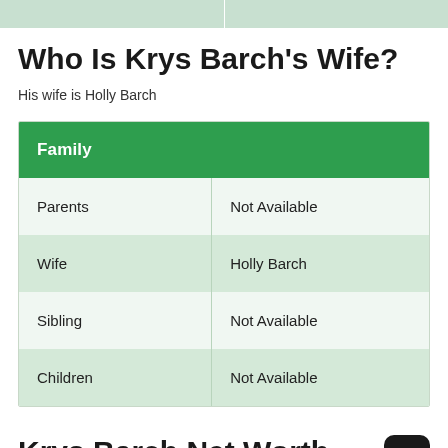[Figure (other): Top decorative bar with two green sections]
Who Is Krys Barch's Wife?
His wife is Holly Barch
| Family |  |
| --- | --- |
| Parents | Not Available |
| Wife | Holly Barch |
| Sibling | Not Available |
| Children | Not Available |
Krys Barch Net Worth
Net worth details are significant in their 2013 Net...